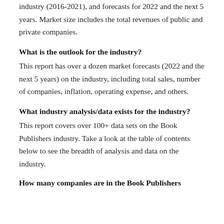industry (2016-2021), and forecasts for 2022 and the next 5 years. Market size includes the total revenues of public and private companies.
What is the outlook for the industry?
This report has over a dozen market forecasts (2022 and the next 5 years) on the industry, including total sales, number of companies, inflation, operating expense, and others.
What industry analysis/data exists for the industry?
This report covers over 100+ data sets on the Book Publishers industry. Take a look at the table of contents below to see the breadth of analysis and data on the industry.
How many companies are in the Book Publishers